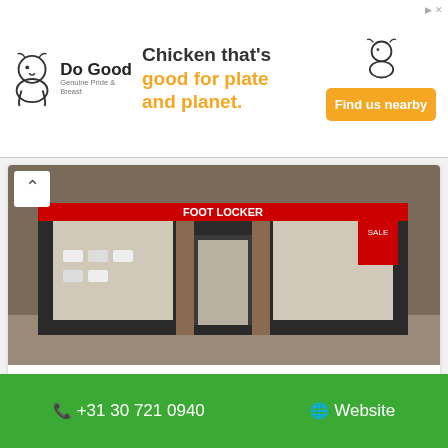[Figure (other): Do Good chicken restaurant advertisement banner with logo, tagline 'Chicken that's good for plate and planet.' and orange 'Find us nearby' button]
[Figure (photo): Exterior photo of Foot Locker shoe store with large display windows showing sneakers]
Foot Locker
Langestraat 36, 3811 AH Amersfoort, Netherlands
[Figure (photo): Exterior photo of JD Sports store (King of Trainers) with JD branding and yellow accents]
📞 +31 30 721 0940
🌐 Website